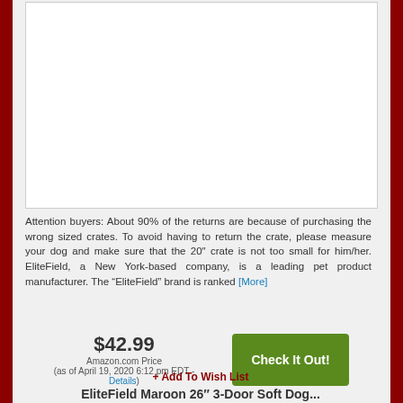[Figure (photo): Product image placeholder - white rectangle with border]
Attention buyers: About 90% of the returns are because of purchasing the wrong sized crates. To avoid having to return the crate, please measure your dog and make sure that the 20″ crate is not too small for him/her. EliteField, a New York-based company, is a leading pet product manufacturer. The “EliteField” brand is ranked [More]
$42.99 Amazon.com Price (as of April 19, 2020 6:12 pm EDT - Details)
+ Add To Wish List
EliteField Maroon 26″ 3-Door Soft Dog...